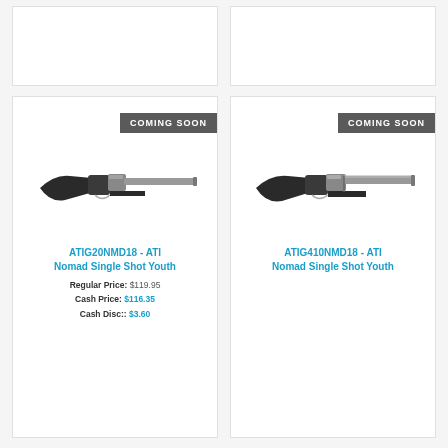[Figure (photo): Top-left product card, partially visible, no product shown]
[Figure (photo): Top-right product card, partially visible, no product shown]
[Figure (photo): Bottom-left card with COMING SOON badge and ATI Nomad Single Shot Youth shotgun image]
COMING SOON
ATIG20NMD18 - ATI Nomad Single Shot Youth
Regular Price: $119.95
Cash Price: $116.35
Cash Disc:: $3.60
[Figure (photo): Bottom-right card with COMING SOON badge and ATI Nomad Single Shot Youth shotgun image]
COMING SOON
ATIG410NMD18 - ATI Nomad Single Shot Youth